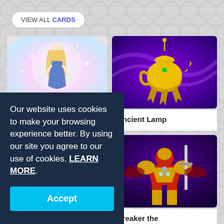VIEW ALL CARDS
[Figure (illustration): Yu-Gi-Oh card artwork: angelic girl with long blonde hair in blue outfit, pastel magical background]
[Figure (illustration): Yu-Gi-Oh card artwork: Ancient Lamp - golden oil lamp creature with claws on purple energy background]
Ancient Lamp
[Figure (illustration): Yu-Gi-Oh card artwork: Battle Eater - warrior with spinning energy rings, dark background]
Battle Eater
[Figure (illustration): Yu-Gi-Oh card artwork: Breaker the Magical Warrior - golden armored warrior on purple background]
Breaker the Magical Warrior
Our website uses cookies to make your browsing experience better. By using our site you agree to our use of cookies. LEARN MORE.
Accept